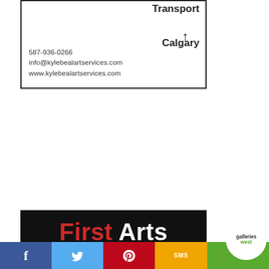[Figure (other): Kyle Beal Art Services advertisement. Shows 'Transport ↑ Calgary' text with contact details: 587-936-0266, info@kylebealartservices.com, www.kylebealartservices.com. Bordered box.]
[Figure (other): First Arts auction house advertisement on black background. Red and white 'First Arts' logo text. White subtitle: 'SEEKING CONSIGNMENTS FOR OUR UPCOMING AUCTIONS'. Indigenous ceremonial mask photograph below.]
[Figure (other): Social media footer bar with Facebook (blue), Twitter (light blue), Pinterest (red), SMS (yellow/orange), and Galleries West logo (green) icons.]